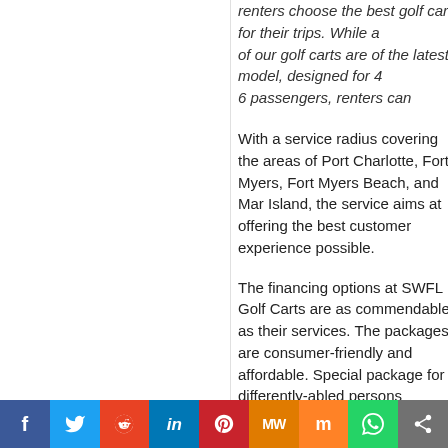renters choose the best golf cart for their trips. While all of our golf carts are of the latest model, designed for 4-6 passengers, renters can always decide on a cart based on their preferred battery type and budget".
With a service radius covering the areas of Port Charlotte, Fort Myers, Fort Myers Beach, and Marco Island, the service aims at offering the best customer experience possible.
The financing options at SWFL Golf Carts are as commendable as their services. The packages are consumer-friendly and affordable. Special packages for differently-abled persons encourage them to become a part of the unique golf cart-owning community.
The online inventory option makes it way more